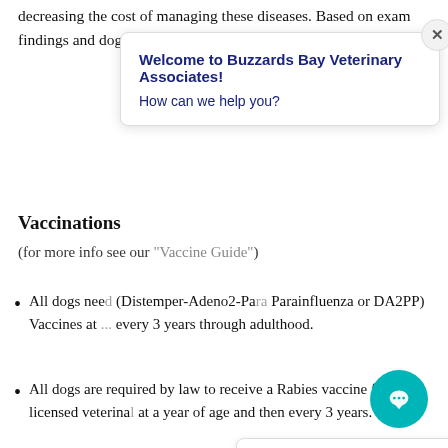decreasing the cost of managing these diseases. Based on exam findings and dog breed, yo... additiona... or glaucom...
[Figure (screenshot): Chat popup overlay with title 'Welcome to Buzzards Bay Veterinary Associates!' and subtitle 'How can we help you?', with a close (X) button.]
Vaccinations
(for more info see our "Vaccine Guide")
[Figure (screenshot): Action buttons panel with: 'Request an Appointment >', 'Request a Prescription Refill >', 'Something else >']
All dogs nee... (Distemper-Adeno2-Para... Parainfluenza or DA2PP) Vaccines at ... every 3 years through adulthood.
All dogs are required by law to receive a Rabies vaccine from a licensed veterina... at a year of age and then every 3 years.
[Figure (screenshot): Teal floating chat button (FAB) with speech bubble dots icon in bottom right corner.]